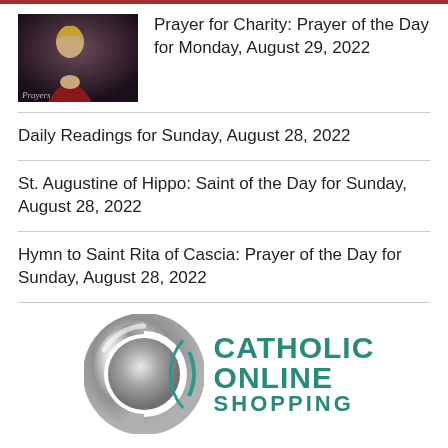Prayer for Charity: Prayer of the Day for Monday, August 29, 2022
Daily Readings for Sunday, August 28, 2022
St. Augustine of Hippo: Saint of the Day for Sunday, August 28, 2022
Hymn to Saint Rita of Cascia: Prayer of the Day for Sunday, August 28, 2022
[Figure (logo): Catholic Online Shopping logo with a metallic C and teal text]